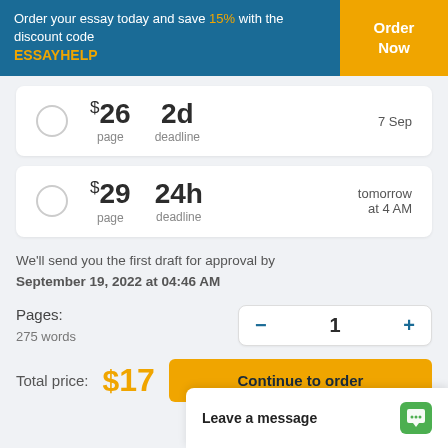Order your essay today and save 15% with the discount code ESSAYHELP
$26 per page — 2d deadline — 7 Sep
$29 per page — 24h deadline — tomorrow at 4 AM
We'll send you the first draft for approval by September 19, 2022 at 04:46 AM
Pages: 275 words — 1 — Total price: $17
Leave a message